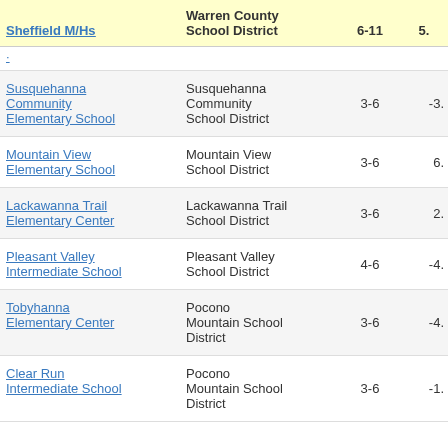| Sheffield M/Hs | Warren County School District | 6-11 | 5. |
| --- | --- | --- | --- |
| Susquehanna Community Elementary School | Susquehanna Community School District | 3-6 | -3. |
| Mountain View Elementary School | Mountain View School District | 3-6 | 6. |
| Lackawanna Trail Elementary Center | Lackawanna Trail School District | 3-6 | 2. |
| Pleasant Valley Intermediate School | Pleasant Valley School District | 4-6 | -4. |
| Tobyhanna Elementary Center | Pocono Mountain School District | 3-6 | -4. |
| Clear Run Intermediate School | Pocono Mountain School District | 3-6 | -1. |